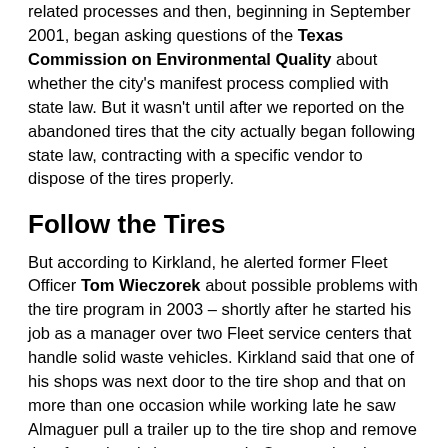related processes and then, beginning in September 2001, began asking questions of the Texas Commission on Environmental Quality about whether the city's manifest process complied with state law. But it wasn't until after we reported on the abandoned tires that the city actually began following state law, contracting with a specific vendor to dispose of the tires properly.
Follow the Tires
But according to Kirkland, he alerted former Fleet Officer Tom Wieczorek about possible problems with the tire program in 2003 – shortly after he started his job as a manager over two Fleet service centers that handle solid waste vehicles. Kirkland said that one of his shops was next door to the tire shop and that on more than one occasion while working late he saw Almaguer pull a trailer up to the tire shop and remove tires from the city's scrap stack. On occasion, he said, it seemed that Almaguer was taking "a lot" of tires that still had "useful life left on them." (Notably, when we first inspected the scrap-tire pile at Vic's Tire Service, there was at least one city-owned tire marked as dating from 2003.) Almaguer said that he was never told he could take tires that were still useful, but he said it was common that the city would throw out tires that it could no longer use but that still had some life left. "There are quite a bit of tires that they throw away that a person could fix up and sell." he